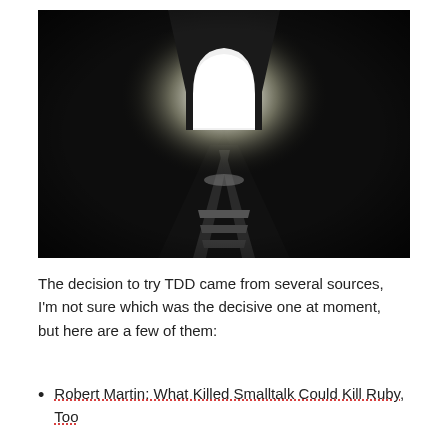[Figure (photo): Black and white photograph taken from inside a dark railway tunnel looking toward the bright arched exit. Railroad tracks converge toward the light at the tunnel opening.]
The decision to try TDD came from several sources, I'm not sure which was the decisive one at moment, but here are a few of them:
Robert Martin: What Killed Smalltalk Could Kill Ruby, Too